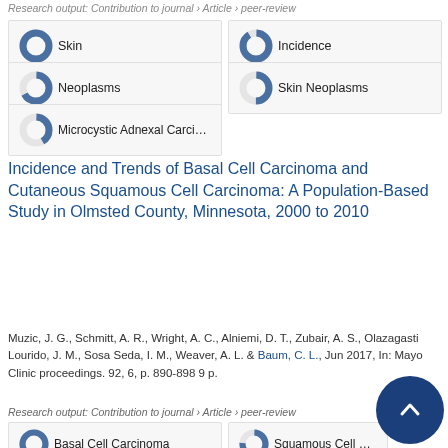Research output: Contribution to journal › Article › peer-review
100% Skin
91% Incidence
67% Neoplasms
50% Skin Neoplasms
42% Microcystic Adnexal Carcinoma
Incidence and Trends of Basal Cell Carcinoma and Cutaneous Squamous Cell Carcinoma: A Population-Based Study in Olmsted County, Minnesota, 2000 to 2010
Muzic, J. G., Schmitt, A. R., Wright, A. C., Alniemi, D. T., Zubair, A. S., Olazagasti Lourido, J. M., Sosa Seda, I. M., Weaver, A. L. & Baum, C. L., Jun 2017, In: Mayo Clinic proceedings. 92, 6, p. 890-898 9 p.
Research output: Contribution to journal › Article › peer-review
100% Basal Cell Carcinoma
76% Squamous Cell Carcinoma
60% Skin
50% Incidence
Population